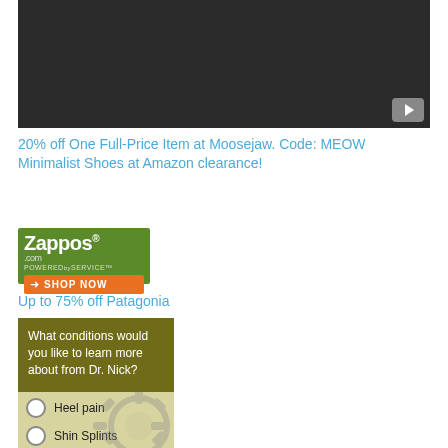[Figure (screenshot): Dark video player screenshot with a YouTube play button in the bottom-right corner]
20% off One Full-Price Item at Moosejaw. Code: MEOW
Minimalist Shoes at Amazon clearance!
[Figure (logo): Zappos.com logo with green background and orange SHOP NOW button]
Up to 75% off Patagonia
[Figure (infographic): Survey widget asking 'What conditions would you like to learn more about from Dr. Nick?' with radio options for Heel pain and Shin Splints]